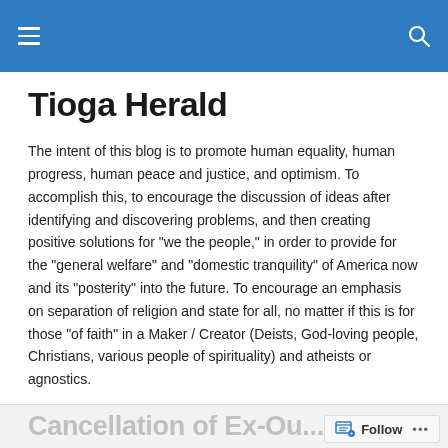Tioga Herald [navigation bar with hamburger menu and search icon]
Tioga Herald
The intent of this blog is to promote human equality, human progress, human peace and justice, and optimism. To accomplish this, to encourage the discussion of ideas after identifying and discovering problems, and then creating positive solutions for "we the people," in order to provide for the "general welfare" and "domestic tranquility" of America now and its "posterity" into the future. To encourage an emphasis on separation of religion and state for all, no matter if this is for those "of faith" in a Maker / Creator (Deists, God-loving people, Christians, various people of spirituality) and atheists or agnostics.
New York's Temporary
Cancellation of Ex-Ou...